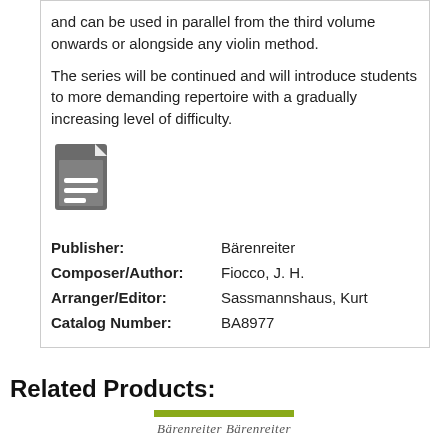and can be used in parallel from the third volume onwards or alongside any violin method.
The series will be continued and will introduce students to more demanding repertoire with a gradually increasing level of difficulty.
[Figure (illustration): A document/file icon with lines representing text, grey colored.]
| Publisher: | Bärenreiter |
| Composer/Author: | Fiocco, J. H. |
| Arranger/Editor: | Sassmannshaus, Kurt |
| Catalog Number: | BA8977 |
Related Products:
[Figure (logo): Green horizontal bar above a cursive brand name script logo.]